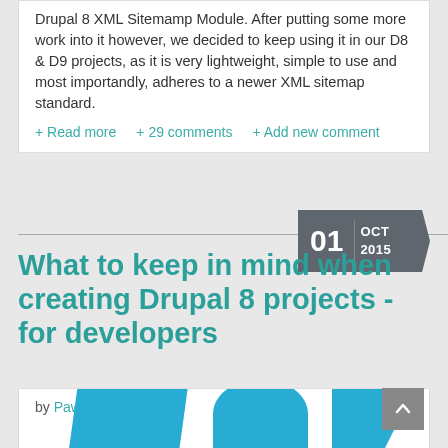Drupal 8 XML Sitemamp Module. After putting some more work into it however, we decided to keep using it in our D8 & D9 projects, as it is very lightweight, simple to use and most importandly, adheres to a newer XML sitemap standard.
+ Read more
+ 29 comments
+ Add new comment
What to keep in mind when creating Drupal 8 projects - for developers
01 | OCT 2015
by Pawel Ginalski
[Figure (illustration): Three blue geometric shapes (parallelogram, dome/semicircle, arrow) partially visible at the bottom of the page]